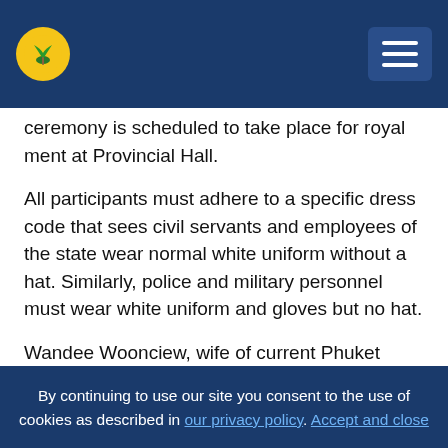[Logo: palm tree circle icon] [Hamburger menu button]
ceremony is scheduled to take place for royal ment at Provincial Hall.
All participants must adhere to a specific dress code that sees civil servants and employees of the state wear normal white uniform without a hat. Similarly, police and military personnel must wear white uniform and gloves but no hat.
Wandee Woonciew, wife of current Phuket Governor Narong Woonciew and President of the Interior Housekeeper of Phuket Province, will wear a purple
By continuing to use our site you consent to the use of cookies as described in our privacy policy. Accept and close